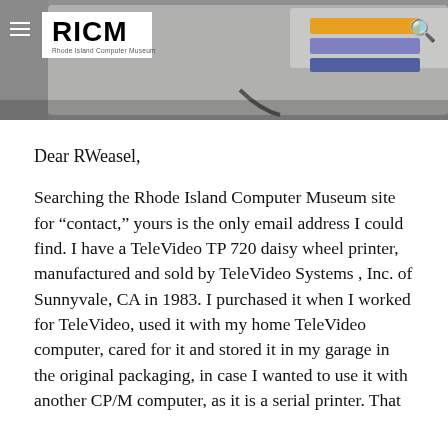[Figure (photo): Header photo showing a vintage computer/printer device (likely a TeleVideo TP 720 daisy wheel printer) on a gray surface, with the RICM (Rhode Island Computer Museum) logo overlaid in a white box, a hamburger menu icon on the left, and a search icon on the right.]
Dear RWeasel,
Searching the Rhode Island Computer Museum site for “contact,” yours is the only email address I could find. I have a TeleVideo TP 720 daisy wheel printer, manufactured and sold by TeleVideo Systems , Inc. of Sunnyvale, CA in 1983. I purchased it when I worked for TeleVideo, used it with my home TeleVideo computer, cared for it and stored it in my garage in the original packaging, in case I wanted to use it with another CP/M computer, as it is a serial printer. That